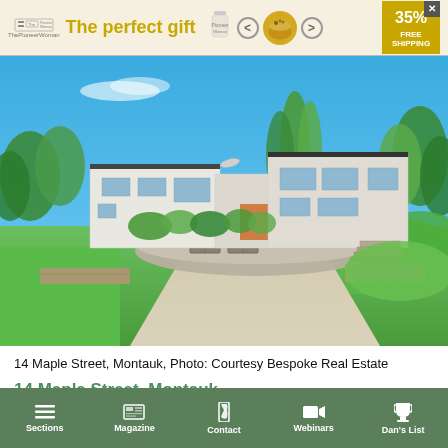[Figure (other): Advertisement banner: 'The perfect gift' with pot/cookie imagery, 35% off + FREE SHIPPING promo]
[Figure (photo): Exterior photo of modern white multi-level house at 14 Maple Street, Montauk, with green lawn, stone retaining walls, and gravel driveway. Blue sky background. Photo courtesy Bespoke Real Estate.]
14 Maple Street, Montauk, Photo: Courtesy Bespoke Real Estate
14 Maple Street, Montauk
$12.7 million, listed by Bespoke Real Estate
Sections  Magazine  Contact  Webinars  Dan's List